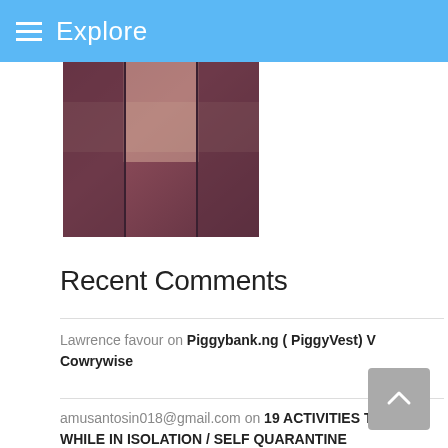Explore
[Figure (photo): Partial view of dark reddish-brown book or object with a light-colored cross/T shape, cropped at top]
Recent Comments
Lawrence favour on Piggybank.ng ( PiggyVest) V Cowrywise
amusantosin018@gmail.com on 19 ACTIVITIES TO DO WHILE IN ISOLATION / SELF QUARANTINE
James on 19 ACTIVITIES TO DO WHILE IN ISOLATION / SELF QUARANTINE